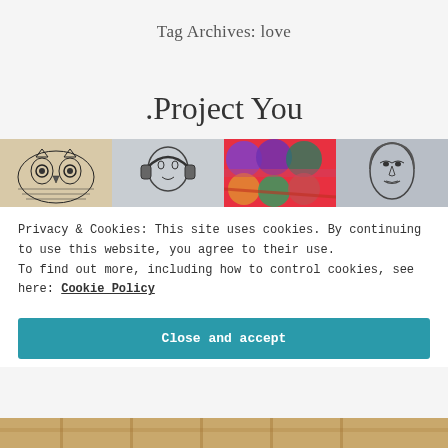Tag Archives: love
.Project You
[Figure (photo): A row of four artwork images: intricate owl drawing, sketch of person with headphones, colorful abstract/pop art, and a pencil portrait sketch]
Privacy & Cookies: This site uses cookies. By continuing to use this website, you agree to their use.
To find out more, including how to control cookies, see here: Cookie Policy
Close and accept
[Figure (photo): Bottom strip showing a warm-toned image, partially visible]